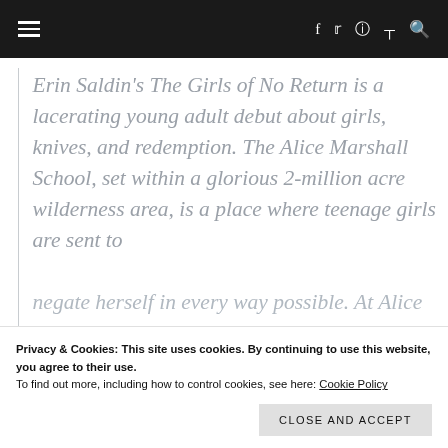☰ f t ⊙ ))) Q
Erin Saldin's The Girls of No Return is a lacerating young adult debut about girls, knives, and redemption. The Alice Marshall School, set within a glorious 2-million acre wilderness area, is a place where teenage girls are sent to ... negate herself in every way possible. At Alice Marshall she meets Elsa Boone, Jules...
Privacy & Cookies: This site uses cookies. By continuing to use this website, you agree to their use.
To find out more, including how to control cookies, see here: Cookie Policy
Close and accept